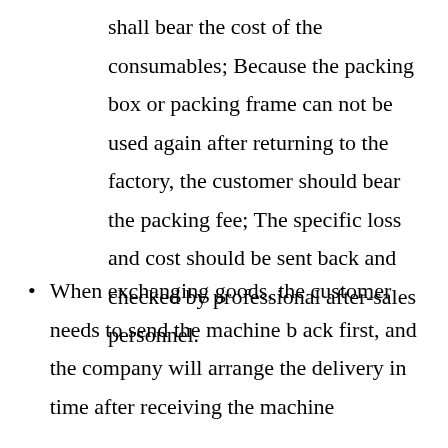shall bear the cost of the consumables; Because the packing box or packing frame can not be used again after returning to the factory, the customer should bear the packing fee; The specific loss and cost should be sent back and checked by professional after-sales personnel.
When exchanging goods, the customer needs to send the machine b ack first, and the company will arrange the delivery in time after receiving the machine